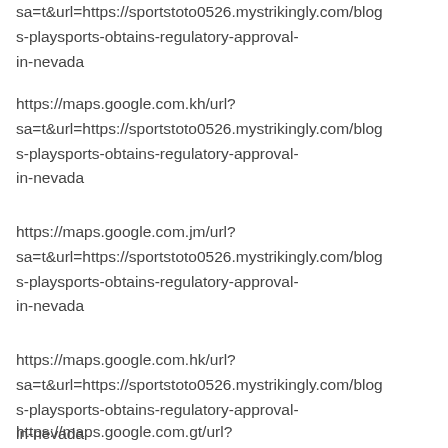sa=t&url=https://sportstoto0526.mystrikingly.com/blogs-playsports-obtains-regulatory-approval-in-nevada
https://maps.google.com.kh/url?sa=t&url=https://sportstoto0526.mystrikingly.com/blogs-playsports-obtains-regulatory-approval-in-nevada
https://maps.google.com.jm/url?sa=t&url=https://sportstoto0526.mystrikingly.com/blogs-playsports-obtains-regulatory-approval-in-nevada
https://maps.google.com.hk/url?sa=t&url=https://sportstoto0526.mystrikingly.com/blogs-playsports-obtains-regulatory-approval-in-nevada
https://maps.google.com.gt/url?